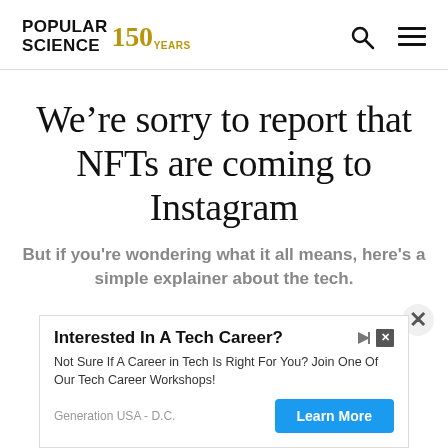POPULAR SCIENCE 150 YEARS
We’re sorry to report that NFTs are coming to Instagram
But if you're wondering what it all means, here's a simple explainer about the tech.
[Figure (other): Advertisement banner: Interested In A Tech Career? Not Sure If A Career in Tech Is Right For You? Join One Of Our Tech Career Workshops! Generation USA - D.C. Learn More]